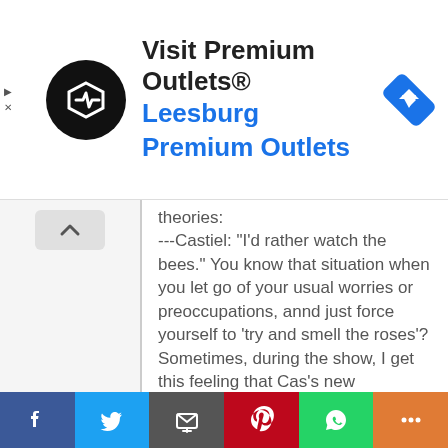[Figure (screenshot): Advertisement banner for Visit Premium Outlets® - Leesburg Premium Outlets with logo and navigation arrow icon]
theories:
---Castiel: "I'd rather watch the bees." You know that situation when you let go of your usual worries or preoccupations, annd just force yourself to 'try and smell the roses'? Sometimes, during the show, I get this feeling that Cas's new perspective 'that he now sees everything' kinda reminds me of the Creator or, at least, of a Spirit elevated to a higher level. He see everthing and knows that everything will be alright. That everything is going according to plan.

---Castiel: "I’m sorry, I think you have to go back to the start.“
[Figure (screenshot): Social sharing bar with Facebook, Twitter, Email, Pinterest, WhatsApp, and More buttons]